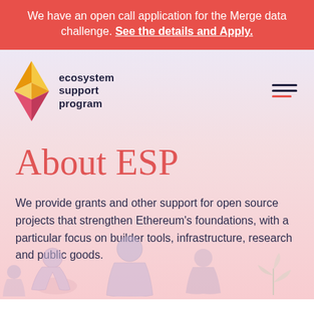We have an open call application for the Merge data challenge. See the details and Apply.
[Figure (logo): Ethereum diamond logo with gradient colors (yellow, orange, pink, purple)]
ecosystem support program
About ESP
We provide grants and other support for open source projects that strengthen Ethereum's foundations, with a particular focus on builder tools, infrastructure, research and public goods.
[Figure (illustration): Line art illustration of people working/collaborating, rendered in light pink tones against pink gradient background]